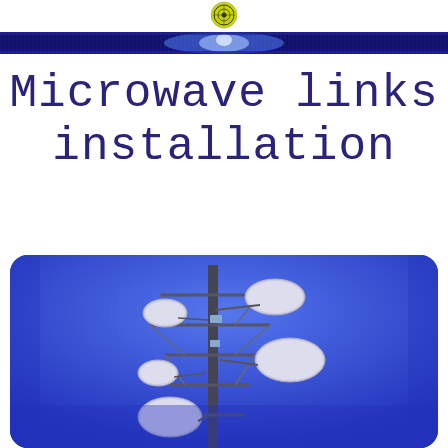[Figure (logo): Small circular logo/badge at top center of page]
[Figure (illustration): Decorative horizontal banner with dark blue background and glowing blue light effect in center, with vertical stripe pattern]
Microwave links installation
[Figure (photo): Photo of a telecommunications tower with multiple microwave dish antennas mounted on it against a blue sky, set within a blue rounded-rectangle frame]